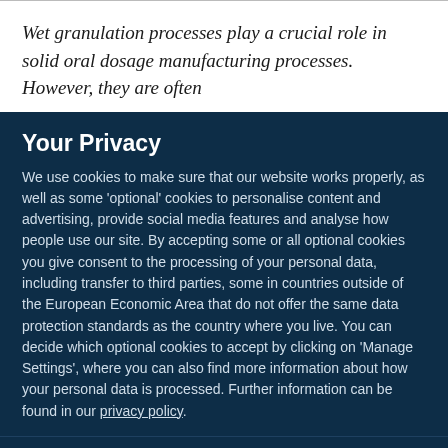Wet granulation processes play a crucial role in solid oral dosage manufacturing processes. However, they are often
Your Privacy
We use cookies to make sure that our website works properly, as well as some ‘optional’ cookies to personalise content and advertising, provide social media features and analyse how people use our site. By accepting some or all optional cookies you give consent to the processing of your personal data, including transfer to third parties, some in countries outside of the European Economic Area that do not offer the same data protection standards as the country where you live. You can decide which optional cookies to accept by clicking on ‘Manage Settings’, where you can also find more information about how your personal data is processed. Further information can be found in our privacy policy.
Accept all cookies
Manage preferences